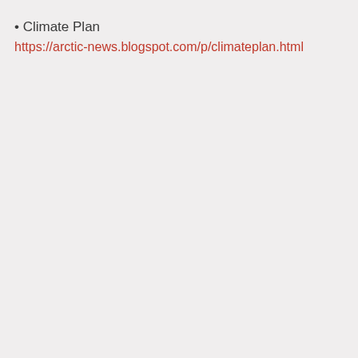• Climate Plan
https://arctic-news.blogspot.com/p/climateplan.html